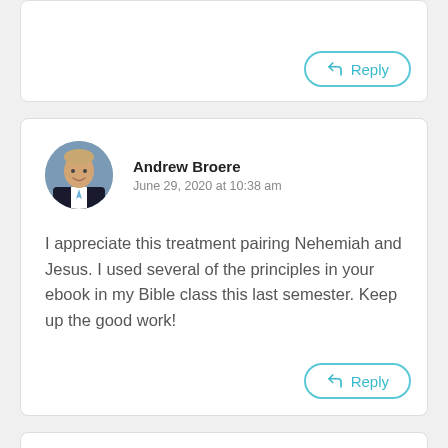[Figure (screenshot): Top portion of a comment card showing only a Reply button at bottom right]
Andrew Broere
June 29, 2020 at 10:38 am
I appreciate this treatment pairing Nehemiah and Jesus. I used several of the principles in your ebook in my Bible class this last semester. Keep up the good work!
[Figure (screenshot): Bottom portion of page showing start of another comment card]